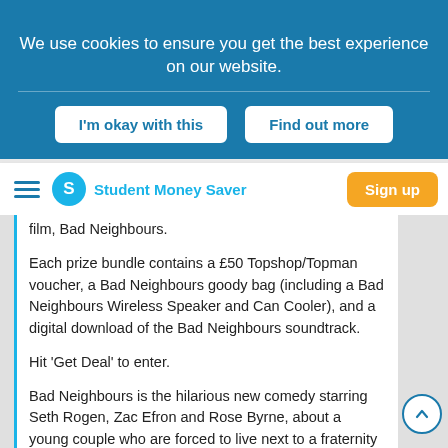We use cookies to ensure you get the best experience on our website.
I'm okay with this
Find out more
Student Money Saver | Sign up
film, Bad Neighbours.
Each prize bundle contains a £50 Topshop/Topman voucher, a Bad Neighbours goody bag (including a Bad Neighbours Wireless Speaker and Can Cooler), and a digital download of the Bad Neighbours soundtrack.
Hit 'Get Deal' to enter.
Bad Neighbours is the hilarious new comedy starring Seth Rogen, Zac Efron and Rose Byrne, about a young couple who are forced to live next to a fraternity house after the birth of their baby. Th